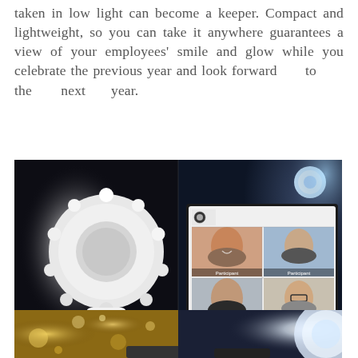taken in low light can become a keeper. Compact and lightweight, so you can take it anywhere guarantees a view of your employees' smile and glow while you celebrate the previous year and look forward to the next year.
[Figure (photo): Product photo of an FCI-branded selfie ring light clipped onto a smartphone (left side, dark background with bright white light), and a laptop screen showing a video conference grid with 6 participants (right side).]
[Figure (photo): Partial bottom image showing a bokeh gold/sparkle background on the left and a bright white ring light glow on the right, with a dark surface at bottom center.]